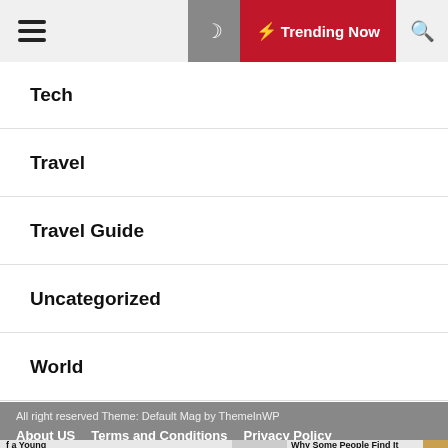Trending Now
Tech
Travel
Travel Guide
Uncategorized
World
All right reserved Theme: Default Mag by ThemeInWP
About US   Terms and Conditions   Privacy Policy   Contact Us
f a Young vered in...   Why Some People Find It Harder to Be Happy, According to Science